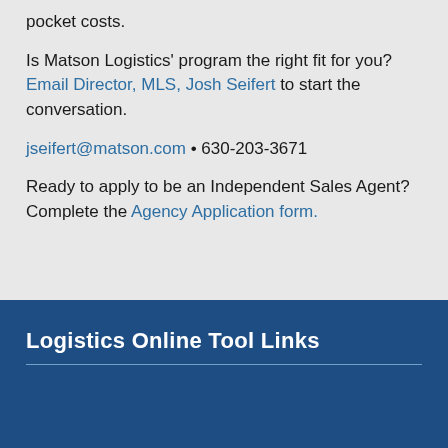pocket costs.

Is Matson Logistics' program the right fit for you?
Email Director, MLS, Josh Seifert to start the conversation.

jseifert@matson.com • 630-203-3671

Ready to apply to be an Independent Sales Agent?
Complete the Agency Application form.
Logistics Online Tool Links